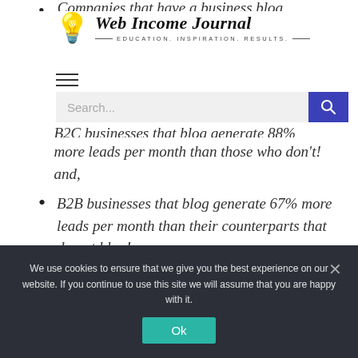[Figure (logo): Web Income Journal logo with lightbulb icon and tagline EDUCATION. INSPIRATION. RESULTS.]
B2B businesses that blog generate 67% more leads per month than those who don't! and,
B2B businesses that blog generate 67% more leads per month than their counterparts that do not blog!
We use cookies to ensure that we give you the best experience on our website. If you continue to use this site we will assume that you are happy with it.